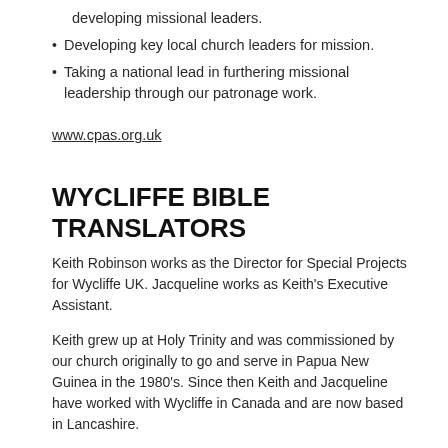developing missional leaders.
Developing key local church leaders for mission.
Taking a national lead in furthering missional leadership through our patronage work.
www.cpas.org.uk
WYCLIFFE BIBLE TRANSLATORS
Keith Robinson works as the Director for Special Projects for Wycliffe UK. Jacqueline works as Keith's Executive Assistant.
Keith grew up at Holy Trinity and was commissioned by our church originally to go and serve in Papua New Guinea in the 1980's. Since then Keith and Jacqueline have worked with Wycliffe in Canada and are now based in Lancashire.